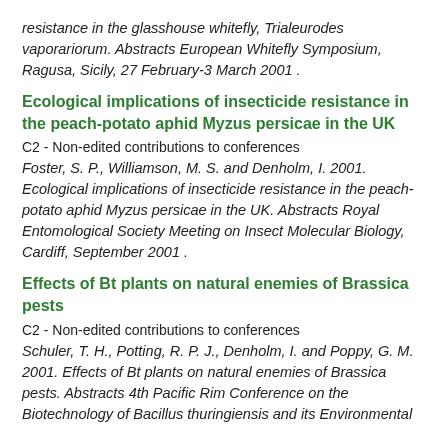resistance in the glasshouse whitefly, Trialeurodes vaporariorum. Abstracts European Whitefly Symposium, Ragusa, Sicily, 27 February-3 March 2001 .
Ecological implications of insecticide resistance in the peach-potato aphid Myzus persicae in the UK
C2 - Non-edited contributions to conferences
Foster, S. P., Williamson, M. S. and Denholm, I. 2001. Ecological implications of insecticide resistance in the peach-potato aphid Myzus persicae in the UK. Abstracts Royal Entomological Society Meeting on Insect Molecular Biology, Cardiff, September 2001 .
Effects of Bt plants on natural enemies of Brassica pests
C2 - Non-edited contributions to conferences
Schuler, T. H., Potting, R. P. J., Denholm, I. and Poppy, G. M. 2001. Effects of Bt plants on natural enemies of Brassica pests. Abstracts 4th Pacific Rim Conference on the Biotechnology of Bacillus thuringiensis and its Environmental